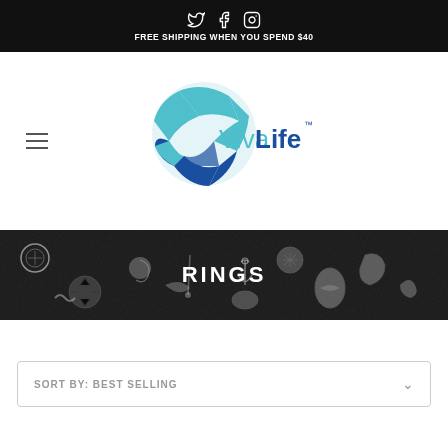FREE SHIPPING WHEN YOU SPEND $40
[Figure (logo): VivaLife brand logo with globe graphic and teal/dark blue text]
[Figure (photo): Dark background banner with silver jewelry charms showing RINGS text overlay]
SORT BY: BEST SELLING